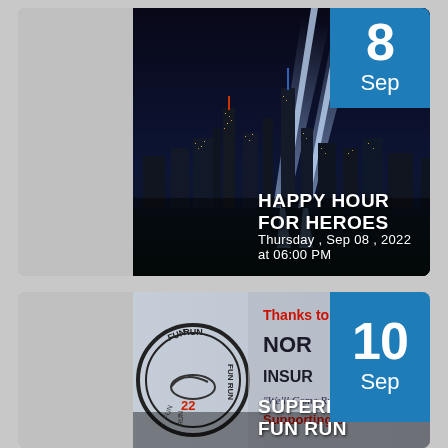[Figure (photo): Event card: Happy Hour for Heroes. NYC skyline at night with two blue light beams (Tribute in Light). Date badge showing '8 Sep' in blue. Event title 'HAPPY HOUR FOR HEROES' and date 'Thursday , Sep 08 , 2022 at 06:00 PM'.]
[Figure (photo): Event card: Superhero Fun Run. Fun Run circular logo on left, sponsor info 'Thanks to NORR... INSUR... We'll Come Run... Supporting s...' on right. Date badge showing '10 Sep' in blue. Event title 'SUPERHERO FUN RUN'.]